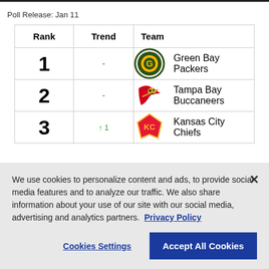Poll Release: Jan 11
| Rank | Trend | Team |
| --- | --- | --- |
| 1 | - | Green Bay Packers |
| 2 | - | Tampa Bay Buccaneers |
| 3 | ↑ 1 | Kansas City Chiefs |
We use cookies to personalize content and ads, to provide social media features and to analyze our traffic. We also share information about your use of our site with our social media, advertising and analytics partners. Privacy Policy